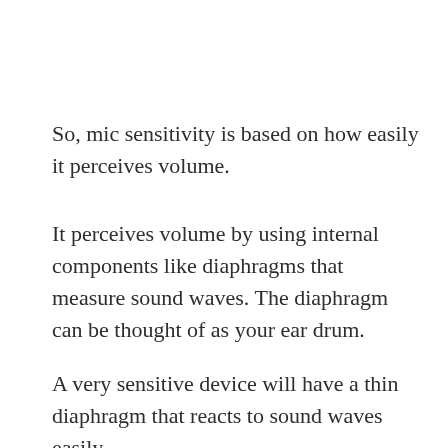So, mic sensitivity is based on how easily it perceives volume.
It perceives volume by using internal components like diaphragms that measure sound waves. The diaphragm can be thought of as your ear drum.
A very sensitive device will have a thin diaphragm that reacts to sound waves easily, but a less sensitive model will require sound